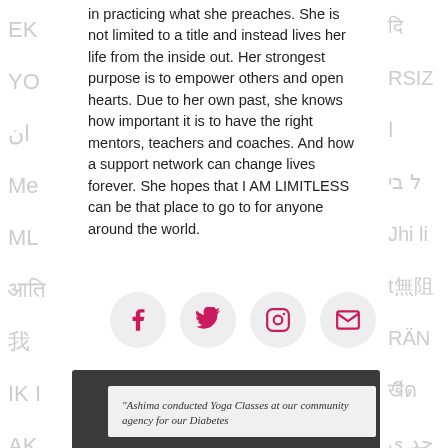in practicing what she preaches. She is not limited to a title and instead lives her life from the inside out. Her strongest purpose is to empower others and open hearts. Due to her own past, she knows how important it is to have the right mentors, teachers and coaches. And how a support network can change lives forever. She hopes that I AM LIMITLESS can be that place to go to for anyone around the world.
[Figure (other): Row of four social media icon circles (Facebook, Twitter, Instagram, Email) with pink icons on light grey circular backgrounds]
[Figure (other): Dark grey/charcoal banner section with a light grey quote box inset, containing italic text: 'Ashima conducted Yoga Classes at our community agency for our Diabetes']
"Ashima conducted Yoga Classes at our community agency for our Diabetes